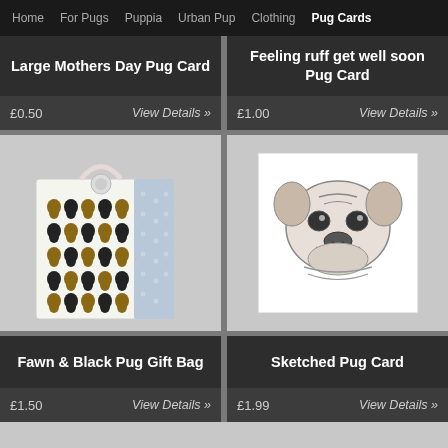Home  For Pugs  Puppia  Urban Pup  Clothing  Pug Cards
Large Mothers Day Pug Card
£0.50   View Details »
Feeling ruff get well soon Pug Card
£1.00   View Details »
[Figure (photo): Gift bag covered in fawn and black pug illustrations with blue polka-dot side panel and ribbon handle]
[Figure (photo): White greeting card with pencil sketch illustration of a pug dog face]
Fawn & Black Pug Gift Bag
£1.50   View Details »
Sketched Pug Card
£1.99   View Details »